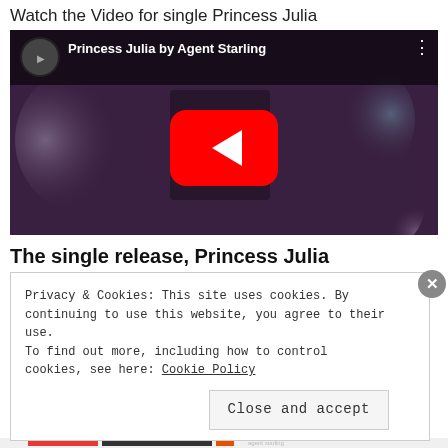Watch the Video for single Princess Julia
[Figure (screenshot): YouTube video embed showing 'Princess Julia by Agent Starling' with a dark purple-toned thumbnail of a person, YouTube play button in center, channel avatar and title in top bar]
The single release, Princess Julia
Privacy & Cookies: This site uses cookies. By continuing to use this website, you agree to their use.
To find out more, including how to control cookies, see here: Cookie Policy
Close and accept